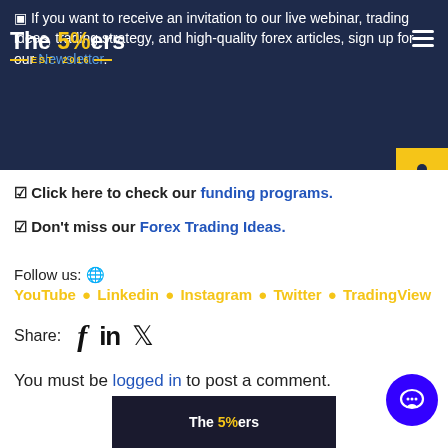If you want to receive an invitation to our live webinar, trading ideas, trading strategy, and high-quality forex articles, sign up for our Newsletter.
☑ Click here to check our funding programs.
☑ Don't miss our Forex Trading Ideas.
Follow us: 🌐
YouTube ● Linkedin ● Instagram ● Twitter ● TradingView
Share: f in 🐦
You must be logged in to post a comment.